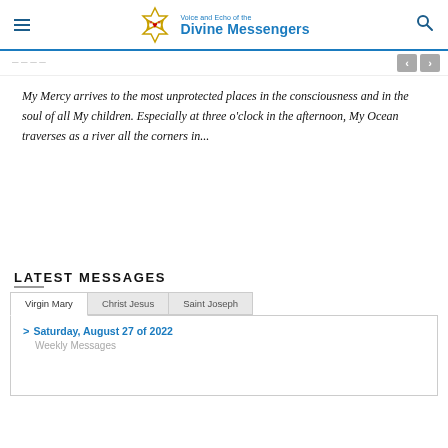Voice and Echo of the Divine Messengers
My Mercy arrives to the most unprotected places in the consciousness and in the soul of all My children. Especially at three o'clock in the afternoon, My Ocean traverses as a river all the corners in...
LATEST MESSAGES
Virgin Mary | Christ Jesus | Saint Joseph
> Saturday, August 27 of 2022
Weekly Messages